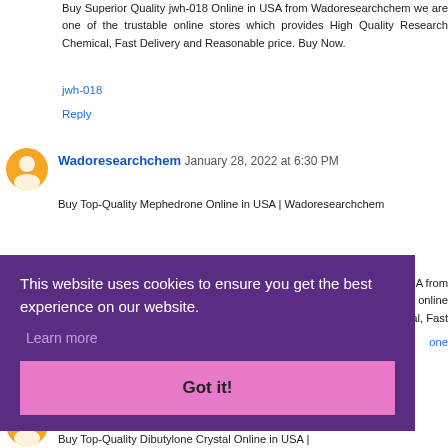Buy Superior Quality jwh-018 Online in USA from Wadoresearchchem we are one of the trustable online stores which provides High Quality Research Chemical, Fast Delivery and Reasonable price. Buy Now.
jwh-018
Reply
Wadoresearchchem January 28, 2022 at 6:30 PM
Buy Top-Quality Mephedrone Online in USA | Wadoresearchchem
This website uses cookies to ensure you get the best experience on our website.
Learn more
Got it!
SA from e online cal, Fast
one
Buy Top-Quality Dibutylone Crystal Online in USA |